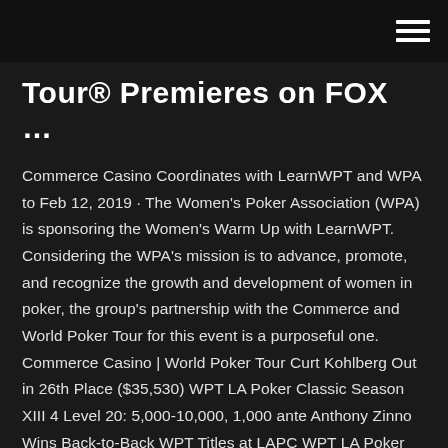Tour® Premieres on FOX …
Commerce Casino Coordinates with LearnWPT and WPA to Feb 12, 2019 · The Women's Poker Association (WPA) is sponsoring the Women's Warm Up with LearnWPT. Considering the WPA's mission is to advance, promote, and recognize the growth and development of women in poker, the group's partnership with the Commerce and World Poker Tour for this event is a purposeful one. Commerce Casino | World Poker Tour Curt Kohlberg Out in 26th Place ($35,530) WPT LA Poker Classic Season XIII 4 Level 20: 5,000-10,000, 1,000 ante Anthony Zinno Wins Back-to-Back WPT Titles at LAPC WPT LA Poker Classic Season XIII 6 Level 33: 100,000-200,000, 25,000 ante Hand #173: Anthony Zinno Wins the WPT LA Poker Classic ($1,215,610) WPT LA P...